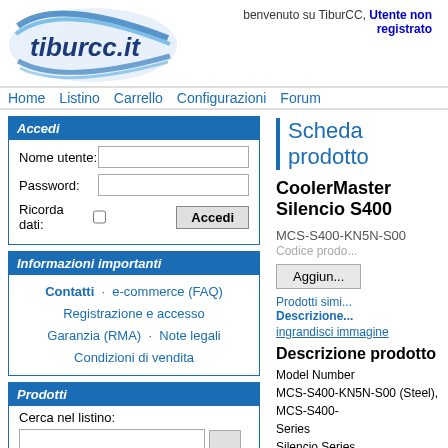[Figure (logo): tiburcc.it logo with blue oval swoosh design]
benvenuto su TiburCC, Utente non registrato
Home  Listino  Carrello  Configurazioni  Forum
Accedi
Nome utente:
Password:
Ricorda dati:
Accedi
Informazioni importanti
Contatti · e-commerce (FAQ)
Registrazione e accesso
Garanzia (RMA) · Note legali
Condizioni di vendita
Prodotti
Cerca nel listino:
Scheda prodotto
CoolerMaster Silencio S400
MCS-S400-KN5N-S00
Codice prodotto
Aggiungi
Prodotti simili
Descrizione
ingrandisci immagine
Descrizione prodotto
Model Number
MCS-S400-KN5N-S00 (Steel), MCS-S400-
Series
Silencio Series
Size